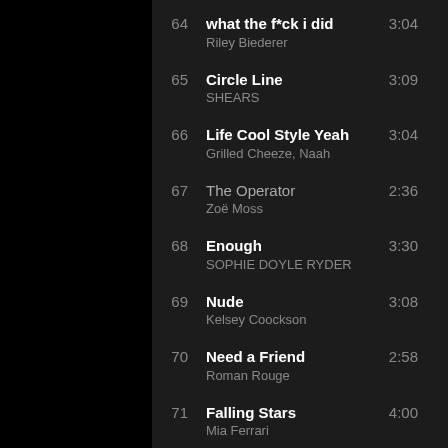64 what the f*ck i did – Riley Biederer – 3:04
65 Circle Line – SHEARS – 3:09
66 Life Cool Style Yeah – Grilled Cheeze, Naah – 3:04
67 The Operator – Zoë Moss – 2:36
68 Enough – SOPHIE DOYLE RYDER – 3:30
69 Nude – Kelsey Coockson – 3:08
70 Need a Friend – Roman Rouge – 2:58
71 Falling Stars – Mia Ferrari – 4:00
72 Human – Michel Young – 2:39